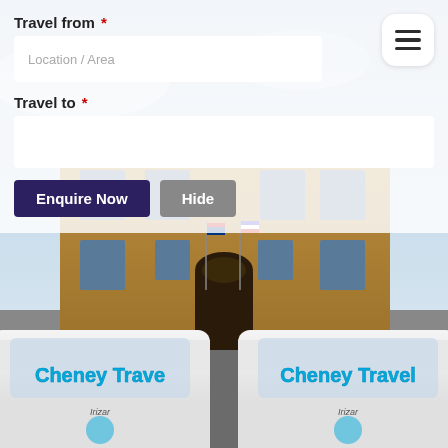[Figure (photo): Two white Cheney Travel coaches parked in front of a large historic stone manor building with flags displayed. The coaches have 'Cheney Travel' written in blue on the front windscreens. The building facade shows Tudor/Jacobean architecture.]
Travel from *
Travel to *
Enquire Now
Hide